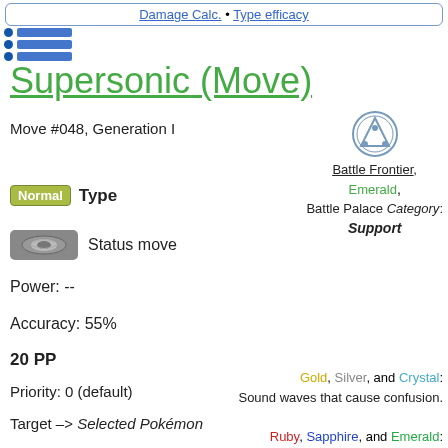Damage Calc. • Type efficacy
Supersonic (Move)
Move #048, Generation I
Battle Frontier, Emerald, Battle Palace Category: Support
Normal Type
Status move
Power: --
Accuracy: 55%
20 PP
Priority: 0 (default)
Target -> Selected Pokémon
Gold, Silver, and Crystal: Sound waves that cause confusion.
Ruby, Sapphire, and Emerald: